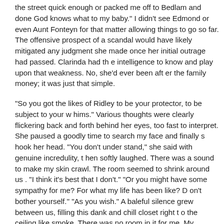the street quick enough or packed me off to Bedlam and done God knows what to my baby." I didn't see Edmond or even Aunt Fonteyn for that matter allowing things to go so far. The offensive prospect of a scandal would have likely mitigated any judgment she made once her initial outrage had passed. Clarinda had th e intelligence to know and play upon that weakness. No, she'd ever been aft er the family money; it was just that simple.
"So you got the likes of Ridley to be your protector, to be subject to your w hims." Various thoughts were clearly flickering back and forth behind her eyes, too fast to interpret. She paused a goodly time to search my face and finally s hook her head. "You don't under stand," she said with genuine incredulity, t hen softly laughed. There was a sound to make my skin crawl. The room seemed to shrink around us . "I think it's best that I don't." "Or you might have some sympathy for me? For what my life has been like? D on't bother yourself.'' "As you wish." A baleful silence grew between us, filling this dank and chill closet right t o the ceiling like smoke. There was no room in it for me. My questions were a ll satisfied; therefore I had no need to remain. I made to pick up my candle. "No, wait!" Her hand shot out to seize mine. Because of the restricted space